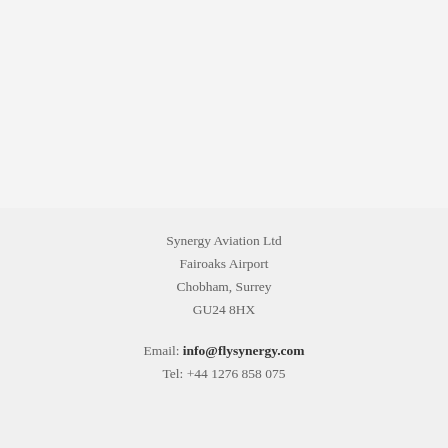Synergy Aviation Ltd
Fairoaks Airport
Chobham, Surrey
GU24 8HX
Email: info@flysynergy.com
Tel: +44 1276 858 075